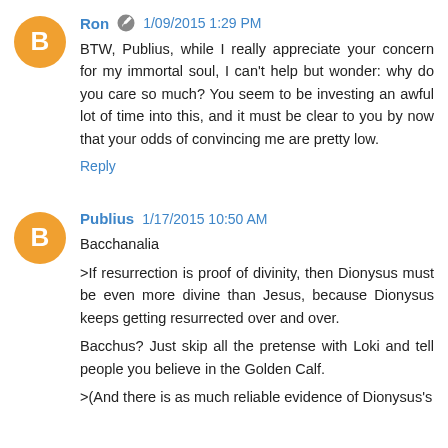Ron  1/09/2015 1:29 PM
BTW, Publius, while I really appreciate your concern for my immortal soul, I can't help but wonder: why do you care so much? You seem to be investing an awful lot of time into this, and it must be clear to you by now that your odds of convincing me are pretty low.
Reply
Publius  1/17/2015 10:50 AM
Bacchanalia
>If resurrection is proof of divinity, then Dionysus must be even more divine than Jesus, because Dionysus keeps getting resurrected over and over.
Bacchus? Just skip all the pretense with Loki and tell people you believe in the Golden Calf.
>(And there is as much reliable evidence of Dionysus's